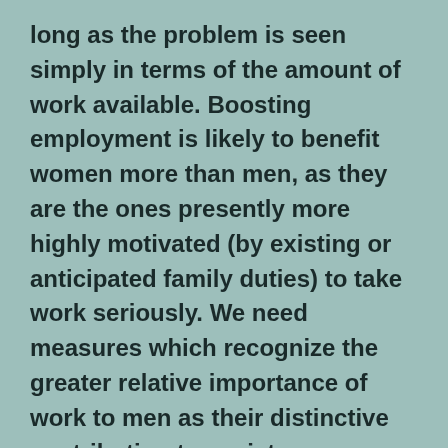long as the problem is seen simply in terms of the amount of work available. Boosting employment is likely to benefit women more than men, as they are the ones presently more highly motivated (by existing or anticipated family duties) to take work seriously. We need measures which recognize the greater relative importance of work to men as their distinctive contribution to society.
Don't really agree with this or much of the article. Men are not abdicating responsibility or delaying adulthood because of chivalry or